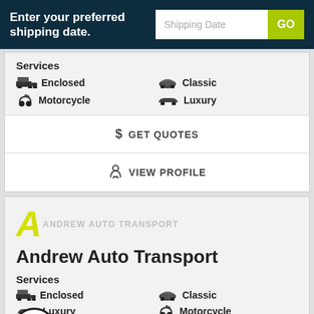Enter your preferred shipping date.
[Figure (screenshot): Search input field with placeholder 'Shipping Date' and a green GO button]
Services
Enclosed
Classic
Motorcycle
Luxury
$ GET QUOTES
VIEW PROFILE
Andrew Auto Transport
Services
Enclosed
Classic
Luxury
Motorcycle